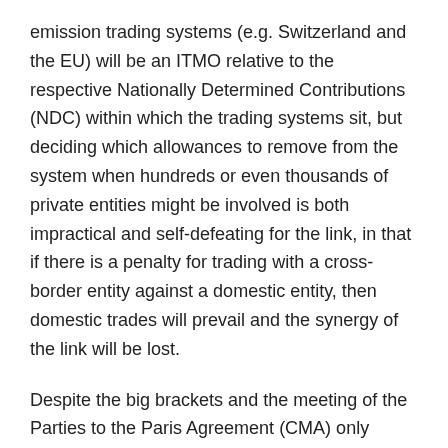emission trading systems (e.g. Switzerland and the EU) will be an ITMO relative to the respective Nationally Determined Contributions (NDC) within which the trading systems sit, but deciding which allowances to remove from the system when hundreds or even thousands of private entities might be involved is both impractical and self-defeating for the link, in that if there is a penalty for trading with a cross-border entity against a domestic entity, then domestic trades will prevail and the synergy of the link will be lost.
Despite the big brackets and the meeting of the Parties to the Paris Agreement (CMA) only noting the guidance on Article 6, it is very likely that the 6.2 text will be used by Parties as it currently stands. Switzerland and the EU may well be the first Parties to do so as they link their respective trading systems from 1.1.2020. Use of the current 6.2 text may also help